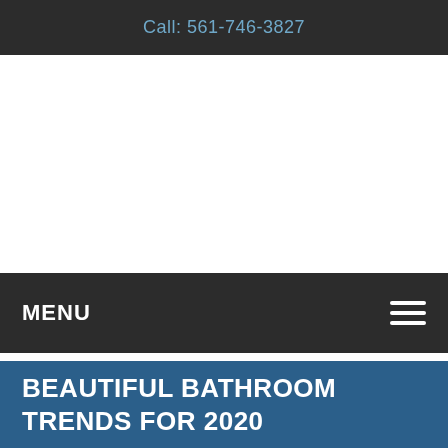Call: 561-746-3827
MENU
BEAUTIFUL BATHROOM TRENDS FOR 2020